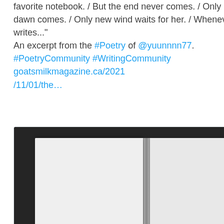favorite notebook. / But the end never comes. / Only new dawn comes. / Only new wind waits for her. / Whenever she writes..." An excerpt from the #Poetry of @yuunnnn77. #PoetryCommunity #WritingCommunity goatsmilkmagazine.ca/2021/11/01/the…
[Figure (photo): Black and white photo of an open blank notebook on a dark surface]
goatsmilkmagazine.ca
The Last Message
2 likes